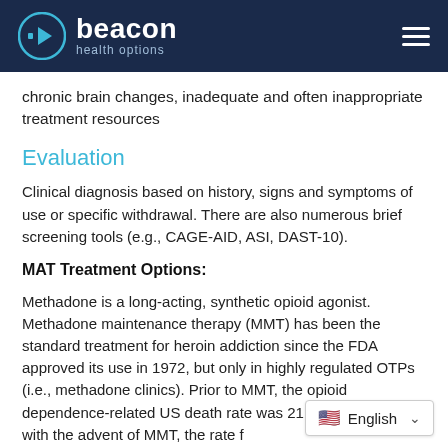beacon health options
chronic brain changes, inadequate and often inappropriate treatment resources
Evaluation
Clinical diagnosis based on history, signs and symptoms of use or specific withdrawal. There are also numerous brief screening tools (e.g., CAGE-AID, ASI, DAST-10).
MAT Treatment Options:
Methadone is a long-acting, synthetic opioid agonist. Methadone maintenance therapy (MMT) has been the standard treatment for heroin addiction since the FDA approved its use in 1972, but only in highly regulated OTPs (i.e., methadone clinics). Prior to MMT, the opioid dependence-related US death rate was 21 per 1000 users; with the advent of MMT, the rate f... rate for opioid dependent persons...